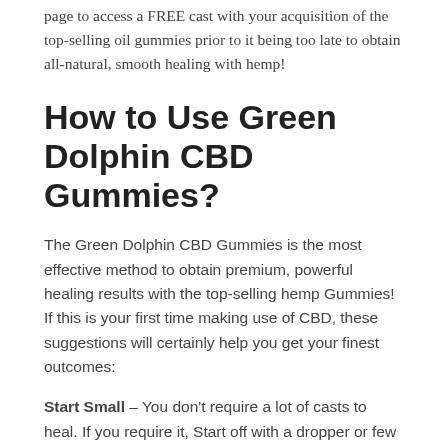page to access a FREE cast with your acquisition of the top-selling oil gummies prior to it being too late to obtain all-natural, smooth healing with hemp!
How to Use Green Dolphin CBD Gummies?
The Green Dolphin CBD Gummies is the most effective method to obtain premium, powerful healing results with the top-selling hemp Gummies! If this is your first time making use of CBD, these suggestions will certainly help you get your finest outcomes:
Start Small – You don't require a lot of casts to heal. If you require it, Start off with a dropper or few before working up to greater doses.
Hold It – Place a few drops under your tongue and also